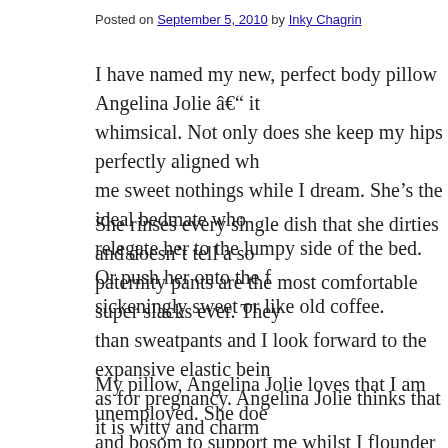Posted on September 5, 2010 by Inky Chagrin
I have named my new, perfect body pillow Angelina Jolie â€“ it’s whimsical. Not only does she keep my hips perfectly aligned wh… me sweet nothings while I dream. She’s the ideal bedmate who … relegate her to the lumpy side of the bed. Or push her onto the f… sickeningly sweet or like old coffee.
She rinses every single dish that she dirties and doesn’t tell a so… paternity pants are the most comfortable super slacks ever. They… than sweatpants and I look forward to the expansive elastic bein… as for pregnancy. Angelina Jolie thinks that it is witty and charm… pants and long, roomy shirts â€œpaternity,â€ and she knows th… etymologically incorrect as â€œherstory.â€
My pillow, Angelina Jolie loves that I am unemployed. She doe… and bosom to support me whilst I flounder to find a job in a new… goofy-looking queer, and it is hard to find employment as some… flashes â€œI’ll need a little bit of time off in six monthsâ€ in n…